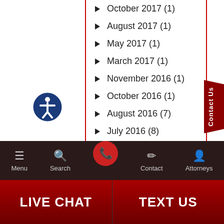October 2017 (1)
August 2017 (1)
May 2017 (1)
March 2017 (1)
November 2016 (1)
October 2016 (1)
August 2016 (7)
July 2016 (8)
June 2016 (9)
May 2016 (9)
Menu | Search | Contact | Attorneys | LIVE CHAT | TEXT US